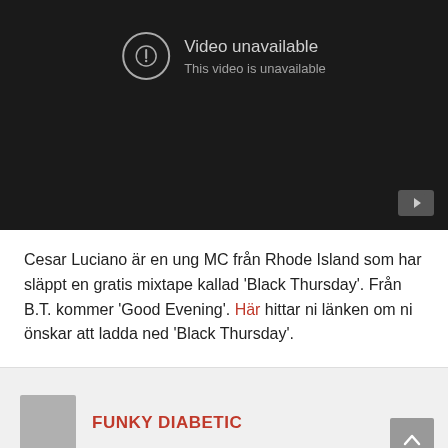[Figure (screenshot): YouTube video player showing 'Video unavailable / This video is unavailable' error message on a dark background, with a YouTube button in the bottom right corner.]
Cesar Luciano är en ung MC från Rhode Island som har släppt en gratis mixtape kallad 'Black Thursday'. Från B.T. kommer 'Good Evening'. Här hittar ni länken om ni önskar att ladda ned 'Black Thursday'.
FUNKY DIABETIC